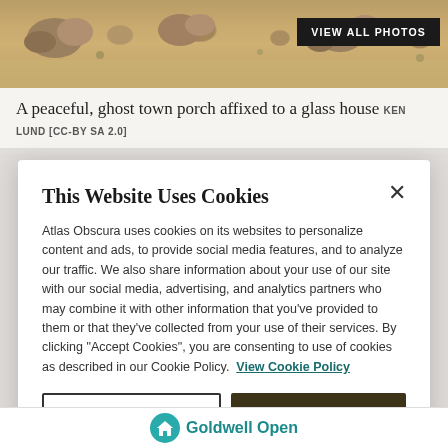[Figure (photo): Partial view of a desert/rocky landscape with brown earth, rocks, and sparse vegetation — top portion of an Atlas Obscura property photo. A black button 'VIEW ALL PHOTOS' overlays the top-right corner.]
A peaceful, ghost town porch affixed to a glass house KEN LUND [CC-BY SA 2.0]
This Website Uses Cookies
Atlas Obscura uses cookies on its websites to personalize content and ads, to provide social media features, and to analyze our traffic. We also share information about your use of our site with our social media, advertising, and analytics partners who may combine it with other information that you've provided to them or that they've collected from your use of their services. By clicking "Accept Cookies", you are consenting to use of cookies as described in our Cookie Policy.  View Cookie Policy
Manage Preferences
Allow Cookies
[Figure (logo): Goldwell Open Air Museum logo — teal circle with house/building icon and 'Goldwell Open' text in teal]